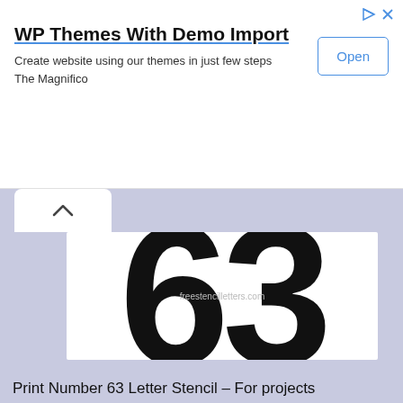WP Themes With Demo Import
Create website using our themes in just few steps
The Magnifico
[Figure (screenshot): Large bold black numeral '63' stencil on white background with watermark 'freestencilletters.com']
Print Number 63 Letter Stencil – For projects